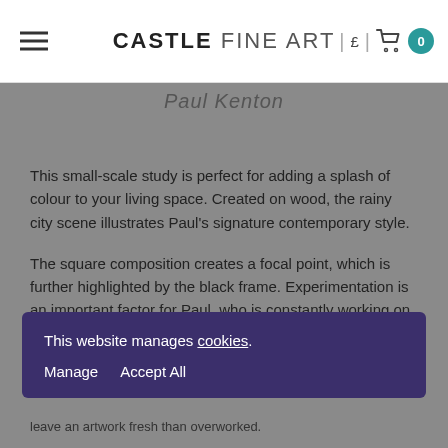Castle Fine Art
Paul Kenton
This small-scale study is perfect for adding a splash of colour to your living space. Created on wood, the rainy city scene illustrates Paul's signature contemporary style.
The square composition creates a focal point, which is further highlighted by the black frame. Experimentation is an important factor for Paul, who is constantly working on new ideas and trying out different sizes and compositions. The use of wood creates an exciting contrast, as the artist is known for his works on aluminium and canvas.
This website manages cookies. Manage  Accept All
leave an artwork fresh than overworked.